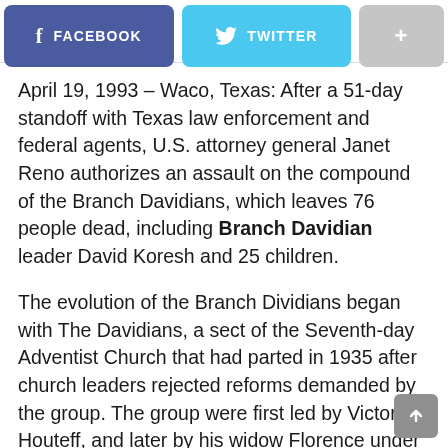[Figure (screenshot): Social share bar with Facebook, Twitter, and More (+) buttons]
April 19, 1993 – Waco, Texas: After a 51-day standoff with Texas law enforcement and federal agents, U.S. attorney general Janet Reno authorizes an assault on the compound of the Branch Davidians, which leaves 76 people dead, including Branch Davidian leader David Koresh and 25 children.
The evolution of the Branch Dividians began with The Davidians, a sect of the Seventh-day Adventist Church that had parted in 1935 after church leaders rejected reforms demanded by the group. The group were first led by Victor Houteff, and later by his widow Florence under the name Davidian Seventh-day